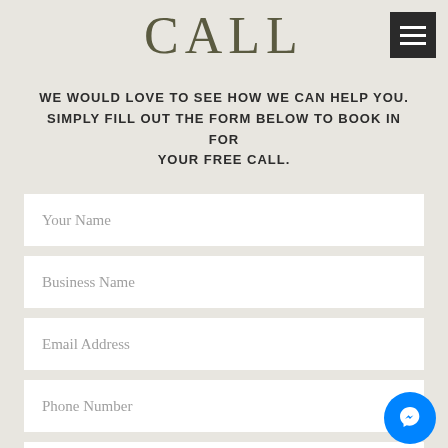CALL
WE WOULD LOVE TO SEE HOW WE CAN HELP YOU. SIMPLY FILL OUT THE FORM BELOW TO BOOK IN FOR YOUR FREE CALL.
Your Name
Business Name
Email Address
Phone Number
Preferred Day and Time